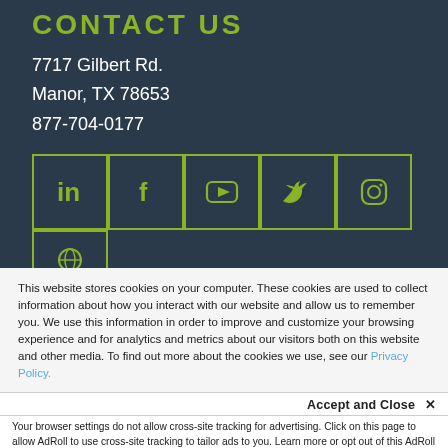CONTACT US
7717 Gilbert Rd.
Manor, TX 78653
877-704-0177
[Figure (other): Row of social media icon boxes (LinkedIn, Facebook, YouTube, Twitter, Instagram) with green borders and icons on dark background, plus a partial second row with one icon box]
This website stores cookies on your computer. These cookies are used to collect information about how you interact with our website and allow us to remember you. We use this information in order to improve and customize your browsing experience and for analytics and metrics about our visitors both on this website and other media. To find out more about the cookies we use, see our Privacy Policy.
Accept and Close ×
Your browser settings do not allow cross-site tracking for advertising. Click on this page to allow AdRoll to use cross-site tracking to tailor ads to you. Learn more or opt out of this AdRoll tracking by clicking here. This message only appears once.